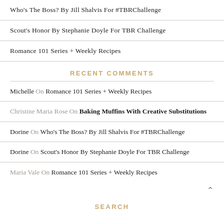Who's The Boss? By Jill Shalvis For #TBRChallenge
Scout's Honor By Stephanie Doyle For TBR Challenge
Romance 101 Series + Weekly Recipes
RECENT COMMENTS
Michelle On Romance 101 Series + Weekly Recipes
Christine Maria Rose On Baking Muffins With Creative Substitutions
Dorine On Who's The Boss? By Jill Shalvis For #TBRChallenge
Dorine On Scout's Honor By Stephanie Doyle For TBR Challenge
Maria Vale On Romance 101 Series + Weekly Recipes
SEARCH